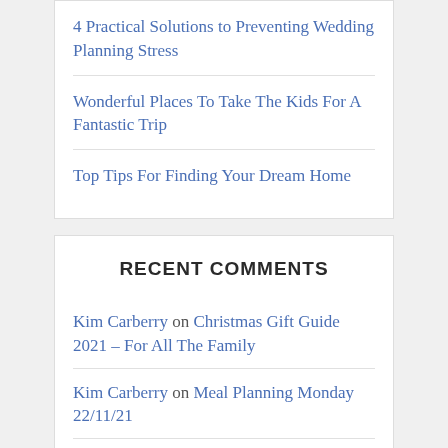4 Practical Solutions to Preventing Wedding Planning Stress
Wonderful Places To Take The Kids For A Fantastic Trip
Top Tips For Finding Your Dream Home
RECENT COMMENTS
Kim Carberry on Christmas Gift Guide 2021 – For All The Family
Kim Carberry on Meal Planning Monday 22/11/21
Kim Carberry on How To Manage Your Nosey Neighbours